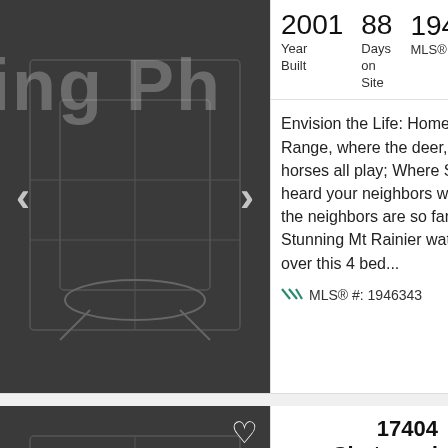[Figure (screenshot): Dark map placeholder image with navigation arrows and overlaid text 'ing Ph']
200	88	1946343
Year Built	Days on Site	MLS®
Envision the Life: Home on the Range, where the deer, elk & horses all play; Where Seldom is heard your neighbors word, for the neighbors are so far away! Stunning Mt Rainier watches over this 4 bed...
MLS® #: 1946343
[Figure (screenshot): Dark map placeholder image for second listing with heart icon and accessibility badge]
17404
Chatwood
$675,000 Rd SE
Rainier